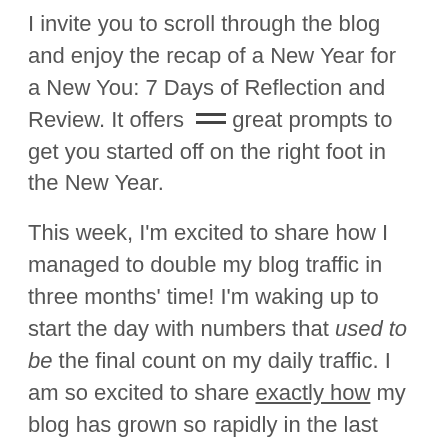I invite you to scroll through the blog and enjoy the recap of a New Year for a New You: 7 Days of Reflection and Review. It offers great prompts to get you started off on the right foot in the New Year.
This week, I'm excited to share how I managed to double my blog traffic in three months' time! I'm waking up to start the day with numbers that used to be the final count on my daily traffic. I am so excited to share exactly how my blog has grown so rapidly in the last few months.